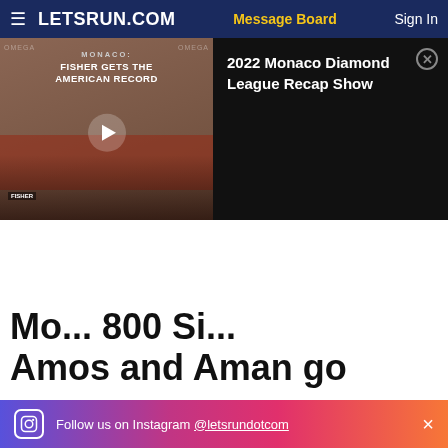LETSRUN.COM | Message Board | Sign In
[Figure (screenshot): Video thumbnail showing Monaco Diamond League race with text 'MONACO: FISHER GETS THE AMERICAN RECORD' and play button overlay, runners on track]
2022 Monaco Diamond League Recap Show
Mo... 800 Si... Amos and Aman go
Follow us on Instagram @letsrundotcom